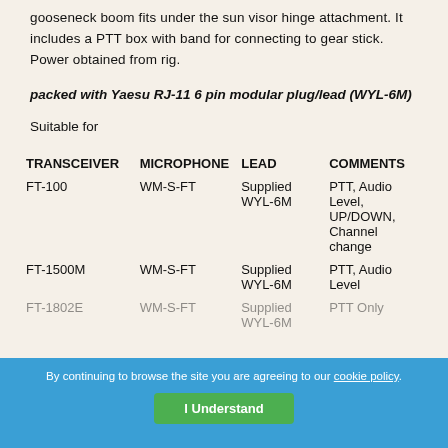gooseneck boom fits under the sun visor hinge attachment. It includes a PTT box with band for connecting to gear stick. Power obtained from rig.
packed with Yaesu RJ-11 6 pin modular plug/lead (WYL-6M)
Suitable for
| TRANSCEIVER | MICROPHONE | LEAD | COMMENTS |
| --- | --- | --- | --- |
| FT-100 | WM-S-FT | Supplied WYL-6M | PTT, Audio Level, UP/DOWN, Channel change |
| FT-1500M | WM-S-FT | Supplied WYL-6M | PTT, Audio Level |
| FT-1802E | WM-S-FT | Supplied WYL-6M | PTT Only |
By continuing to browse the site you are agreeing to our cookie policy. I Understand